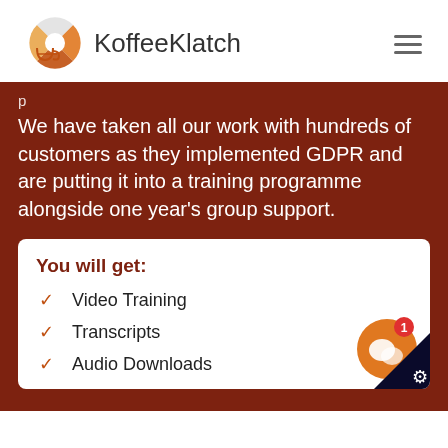KoffeeKlatch
We have taken all our work with hundreds of customers as they implemented GDPR and are putting it into a training programme alongside one year's group support.
You will get:
Video Training
Transcripts
Audio Downloads